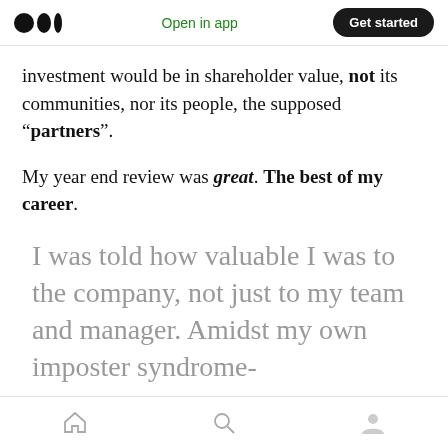Open in app | Get started
investment would be in shareholder value, not its communities, nor its people, the supposed “partners”.
My year end review was great. The best of my career.
I was told how valuable I was to the company, not just to my team and manager. Amidst my own imposter syndrome-
Home | Search | Profile